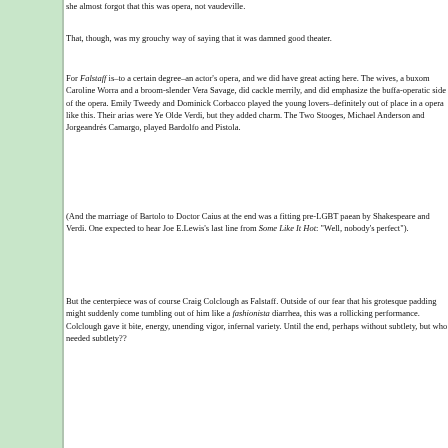she almost forgot that this was opera, not vaudeville.
That, though, was my grouchy way of saying that it was damned good theater.
For Falstaff is–to a certain degree–an actor's opera, and we did have great acting here. The wives, a buxom Caroline Worra and a broom-slender Vera Savage, did cackle merrily, and did emphasize the buffa-operatic side of the opera. Emily Tweedy and Dominick Corbacco played the young lovers–definitely out of place in a opera like this. Their arias were Ye Olde Verdi, but they added charm. The Two Stooges, Michael Anderson and Jorgeandrés Camargo, played Bardolfo and Pistola.
(And the marriage of Bartolo to Doctor Caius at the end was a fitting pre-LGBT paean by Shakespeare and Verdi. One expected to hear Joe E.Lewis's last line from Some Like It Hot: "Well, nobody's perfect").
But the centerpiece was of course Craig Colclough as Falstaff. Outside of our fear that his grotesque padding might suddenly come tumbling out of him like a fashionista diarrhea, this was a rollicking performance. Colclough gave it bite, energy, unending vigor, infernal variety. Until the end, perhaps without subtlety, but who needed subtlety??